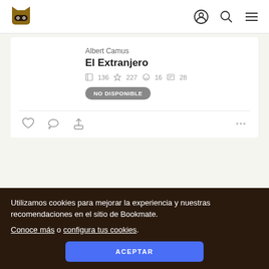[Figure (logo): Bookmate mascot logo - brown cat with mask icon]
Albert Camus
El Extranjero
136  227  16  28
NO DISPONIBLE
Utilizamos cookies para mejorar la experiencia y nuestras recomendaciones en el sitio de Bookmate.
Conoce más o configura tus cookies.
ACEPTAR